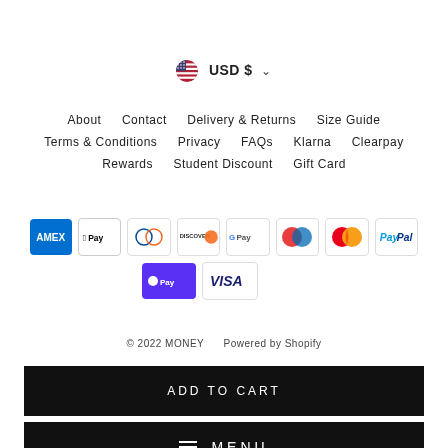USD $ ▾
About  Contact  Delivery & Returns  Size Guide
Terms & Conditions  Privacy  FAQs  Klarna  Clearpay
Rewards  Student Discount  Gift Card
[Figure (logo): Payment method icons: American Express, Apple Pay, Diners Club, Discover, Google Pay, Maestro, Mastercard, PayPal, Shop Pay, Visa]
© 2022 MONEY  Powered by Shopify
ADD TO CART
≡  MENU